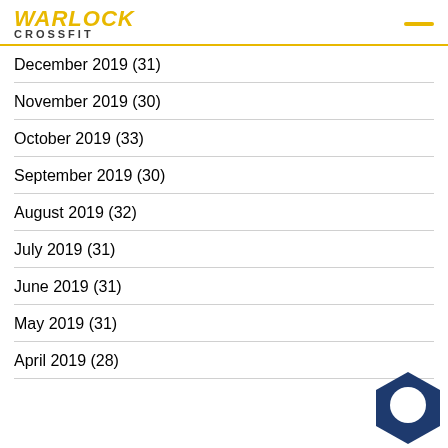WARLOCK CROSSFIT
December 2019 (31)
November 2019 (30)
October 2019 (33)
September 2019 (30)
August 2019 (32)
July 2019 (31)
June 2019 (31)
May 2019 (31)
April 2019 (28)
[Figure (logo): Chat bubble icon, dark blue hexagon shape with white speech bubble]